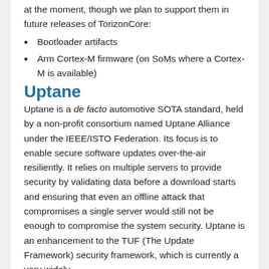at the moment, though we plan to support them in future releases of TorizonCore:
Bootloader artifacts
Arm Cortex-M firmware (on SoMs where a Cortex-M is available)
Uptane
Uptane is a de facto automotive SOTA standard, held by a non-profit consortium named Uptane Alliance under the IEEE/ISTO Federation. Its focus is to enable secure software updates over-the-air resiliently. It relies on multiple servers to provide security by validating data before a download starts and ensuring that even an offline attack that compromises a single server would still not be enough to compromise the system security. Uptane is an enhancement to the TUF (The Update Framework) security framework, which is currently a very widely used framework to ensure software updates